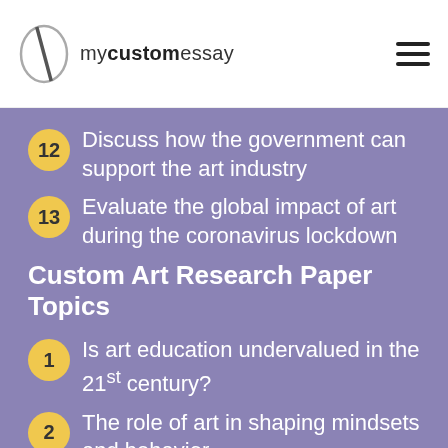mycustomessay
12 Discuss how the government can support the art industry
13 Evaluate the global impact of art during the coronavirus lockdown
Custom Art Research Paper Topics
1 Is art education undervalued in the 21st century?
2 The role of art in shaping mindsets and behavior
3 Should governments make